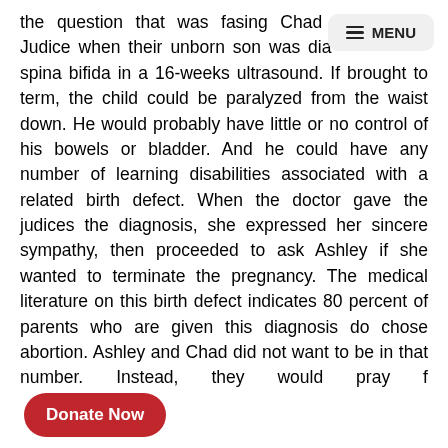the question that was fasing Chad and Ashley Judice when their unborn son was diagnosed with spina bifida in a 16-weeks ultrasound. If brought to term, the child could be paralyzed from the waist down. He would probably have little or no control of his bowels or bladder. And he could have any number of learning disabilities associated with a related birth defect. When the doctor gave the judices the diagnosis, she expressed her sincere sympathy, then proceeded to ask Ashley if she wanted to terminate the pregnancy. The medical literature on this birth defect indicates 80 percent of parents who are given this diagnosis do chose abortion. Ashley and Chad did not want to be in that number. Instead, they would pray f